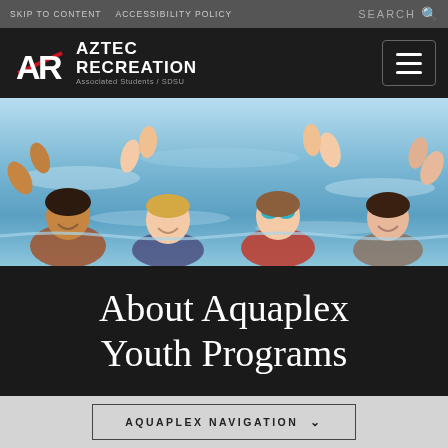SKIP TO CONTENT   ACCESSIBILITY POLICY   SEARCH
[Figure (logo): Aztec Recreation logo with AR initials and text 'AZTEC RECREATION Associated Students / SDSU' on dark background with hamburger menu button]
[Figure (photo): Four children lying at the edge of a swimming pool, smiling at the camera, water visible in background]
About Aquaplex Youth Programs
AQUAPLEX NAVIGATION